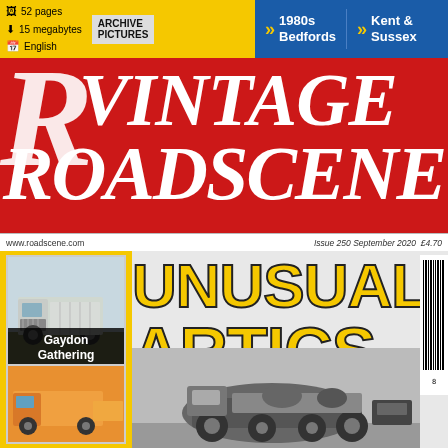52 pages | 15 megabytes | English | ARCHIVE PICTURES | 1980s Bedfords | Kent & Sussex
VINTAGE ROADSCENE
www.roadscene.com  Issue 250 September 2020  £4.70
[Figure (photo): Vintage truck photograph - Gaydon Gathering]
Gaydon Gathering
UNUSUAL ARTICS
[Figure (photo): Orange/yellow truck photograph at bottom left]
[Figure (photo): Black and white photograph of unusual articulated vehicle]